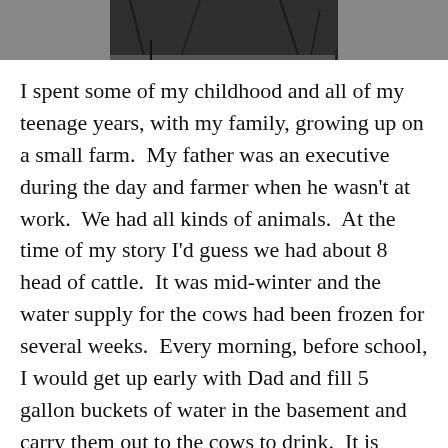[Figure (photo): A partial photograph of what appears to be a winter farm scene, showing the bottom portion of the image with dark tones and bare branches visible.]
I spent some of my childhood and all of my teenage years, with my family, growing up on a small farm.  My father was an executive during the day and farmer when he wasn't at work.  We had all kinds of animals.  At the time of my story I'd guess we had about 8 head of cattle.  It was mid-winter and the water supply for the cows had been frozen for several weeks.  Every morning, before school, I would get up early with Dad and fill 5 gallon buckets of water in the basement and carry them out to the cows to drink.  It is amazing how much water a cow can drink.  They would drink right out of the buckets and then we would go back for more.  At minimum we would carry 5 gallons per cow but sometimes 10.  After we finished the watering we would either pour hot water into the water trough